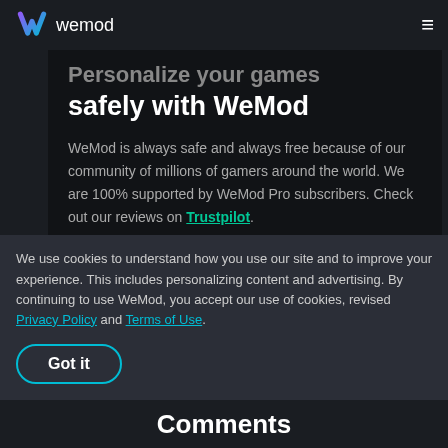wemod
Personalize your games safely with WeMod
WeMod is always safe and always free because of our community of millions of gamers around the world. We are 100% supported by WeMod Pro subscribers. Check out our reviews on Trustpilot.
→ How do I use the cheats in Dealer's Life 2?
We use cookies to understand how you use our site and to improve your experience. This includes personalizing content and advertising. By continuing to use WeMod, you accept our use of cookies, revised Privacy Policy and Terms of Use.
Got it
Comments